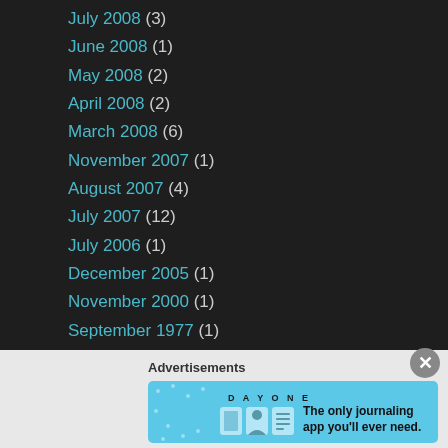July 2008 (3)
June 2008 (1)
May 2008 (2)
April 2008 (2)
March 2008 (6)
November 2007 (1)
August 2007 (4)
July 2007 (12)
July 2006 (1)
December 2005 (1)
November 2000 (1)
September 1977 (1)
August 1977 (1)
Advertisements
[Figure (illustration): Day One journaling app advertisement banner with blue background, showing app icons and text 'The only journaling app you'll ever need.']